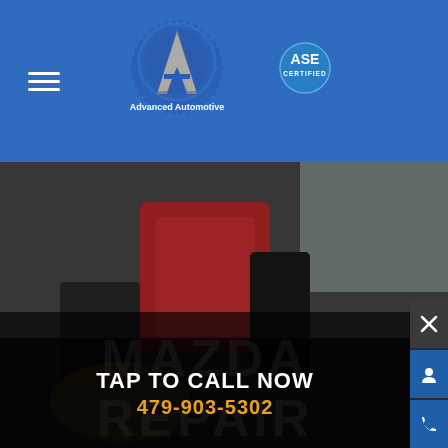[Figure (logo): Advanced Automotive logo with gear/letter A design and 'Advanced Automotive' text below, plus ASE Certified badge to the right, on a blue header background]
[Figure (photo): Close-up photo of automotive repair work, showing red and dark mechanical components, likely brake or engine parts, with a mechanic's hands visible]
TAP TO CALL NOW
479-903-5302